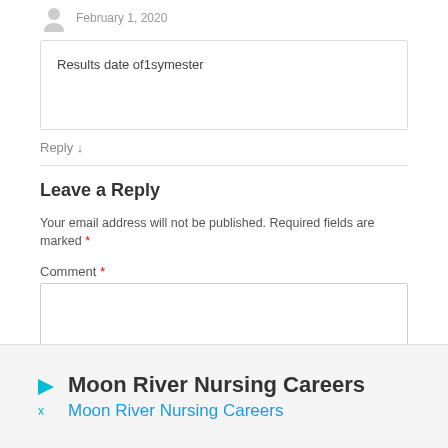February 1, 2020
Results date of1symester
Reply ↓
Leave a Reply
Your email address will not be published. Required fields are marked *
Comment *
[Figure (other): Advertisement banner: Moon River Nursing Careers with play/close icons]